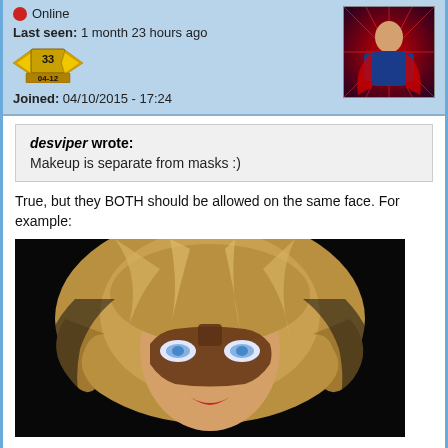Online
Last seen: 1 month 23 hours ago
[Figure (illustration): Badge with wings showing level 33 and rank 04-12]
Joined: 04/10/2015 - 17:24
[Figure (illustration): Forum avatar showing a comic-book style superhero character with red and blue costume against a red starburst background]
desviper wrote:
Makeup is separate from masks :)
True, but they BOTH should be allowed on the same face. For example:
[Figure (photo): Close-up photo of a woman with blonde wavy hair wearing a brown half-mask over her face, with blue/white glowing eyes visible through the mask, red lips, dramatic lighting against dark background]